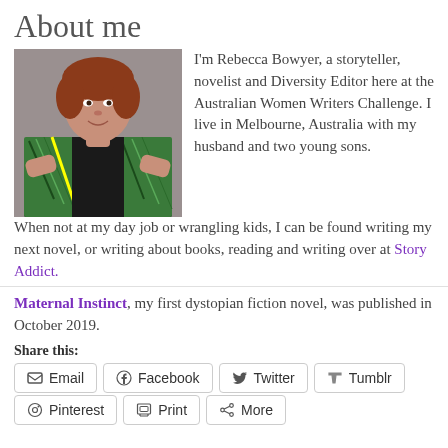About me
[Figure (photo): Portrait photo of Rebecca Bowyer, a woman with auburn hair, wearing a patterned jacket over a black top, standing with hands on hips against a grey background.]
I'm Rebecca Bowyer, a storyteller, novelist and Diversity Editor here at the Australian Women Writers Challenge. I live in Melbourne, Australia with my husband and two young sons. When not at my day job or wrangling kids, I can be found writing my next novel, or writing about books, reading and writing over at Story Addict.
Maternal Instinct, my first dystopian fiction novel, was published in October 2019.
Share this:
Email
Facebook
Twitter
Tumblr
Pinterest
Print
More